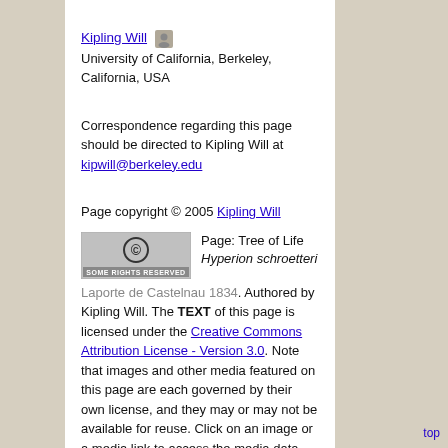Kipling Will
University of California, Berkeley, California, USA
Correspondence regarding this page should be directed to Kipling Will at kipwill@berkeley.edu
Page copyright © 2005 Kipling Will
[Figure (logo): Creative Commons Some Rights Reserved badge]
Page: Tree of Life Hyperion schroetteri Laporte de Castelnau 1834. Authored by Kipling Will. The TEXT of this page is licensed under the Creative Commons Attribution License - Version 3.0. Note that images and other media featured on this page are each governed by their own license, and they may or may not be available for reuse. Click on an image or a media link to access the media data window, which provides the relevant licensing information. For the general terms and conditions of ToL material reuse and redistribution, please see the
top